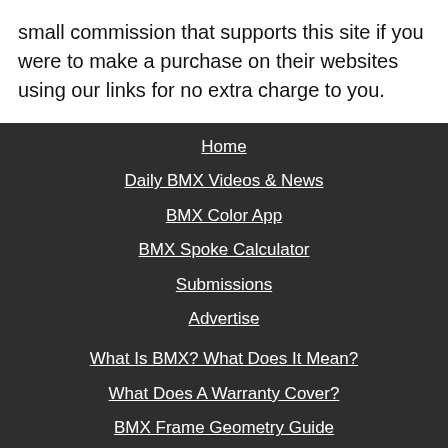small commission that supports this site if you were to make a purchase on their websites using our links for no extra charge to you.
Home
Daily BMX Videos & News
BMX Color App
BMX Spoke Calculator
Submissions
Advertise
What Is BMX? What Does It Mean?
What Does A Warranty Cover?
BMX Frame Geometry Guide
BMX Handlebar Geometry Guide
BMX Tool Guide